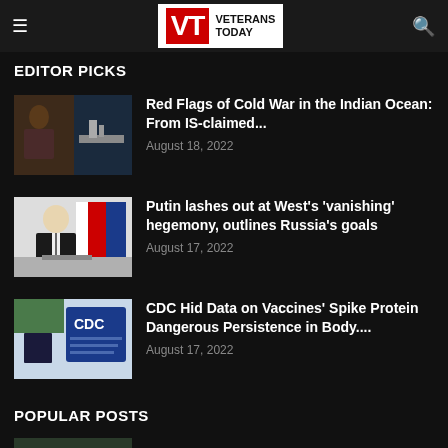Veterans Today
EDITOR PICKS
Red Flags of Cold War in the Indian Ocean: From IS-claimed...
August 18, 2022
Putin lashes out at West's 'vanishing' hegemony, outlines Russia's goals
August 17, 2022
CDC Hid Data on Vaccines' Spike Protein Dangerous Persistence in Body....
August 17, 2022
POPULAR POSTS